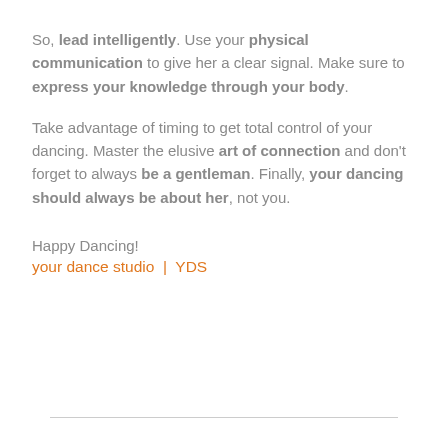So, lead intelligently. Use your physical communication to give her a clear signal. Make sure to express your knowledge through your body.
Take advantage of timing to get total control of your dancing. Master the elusive art of connection and don't forget to always be a gentleman. Finally, your dancing should always be about her, not you.
Happy Dancing!
your dance studio  |  YDS